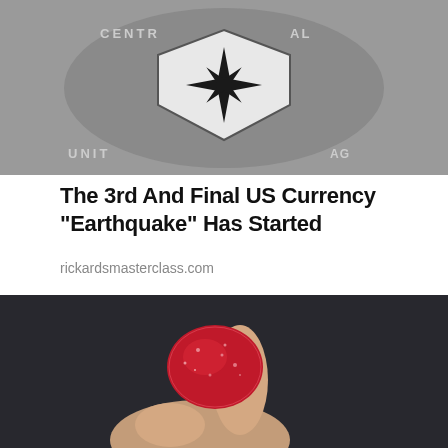[Figure (photo): CIA seal/logo floor emblem, partially visible, showing compass star and eagle, text reading CENTRAL INTELLIGENCE AGENCY and UNITED]
The 3rd And Final US Currency "Earthquake" Has Started
rickardsmasterclass.com
[Figure (photo): A hand holding a red sugar-coated gummy candy between thumb and index finger against a dark background]